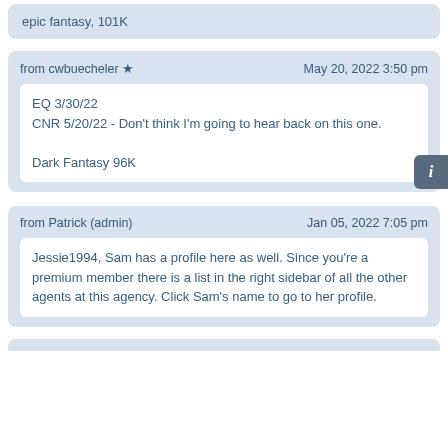epic fantasy, 101K
from cwbuecheler ★    May 20, 2022 3:50 pm
EQ 3/30/22
CNR 5/20/22 - Don't think I'm going to hear back on this one.

Dark Fantasy 96K
from Patrick (admin)    Jan 05, 2022 7:05 pm
Jessie1994, Sam has a profile here as well. Since you're a premium member there is a list in the right sidebar of all the other agents at this agency. Click Sam's name to go to her profile.